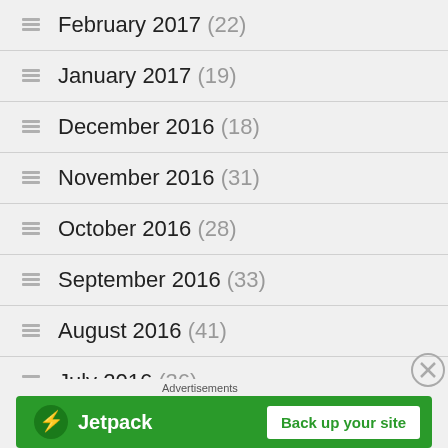February 2017 (22)
January 2017 (19)
December 2016 (18)
November 2016 (31)
October 2016 (28)
September 2016 (33)
August 2016 (41)
July 2016 (36)
[Figure (screenshot): Jetpack advertisement banner with 'Back up your site' button]